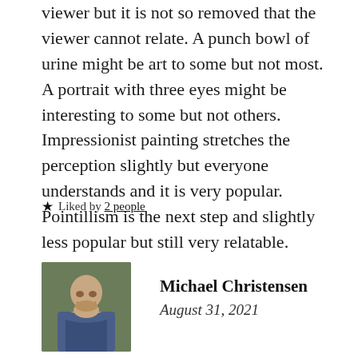viewer but it is not so removed that the viewer cannot relate. A punch bowl of urine might be art to some but not most. A portrait with three eyes might be interesting to some but not others. Impressionist painting stretches the perception slightly but everyone understands and it is very popular. Pointillism is the next step and slightly less popular but still very relatable.
★ Liked by 2 people
[Figure (photo): Profile photo of Michael Christensen, a man with a beard, outdoors]
Michael Christensen
August 31, 2021